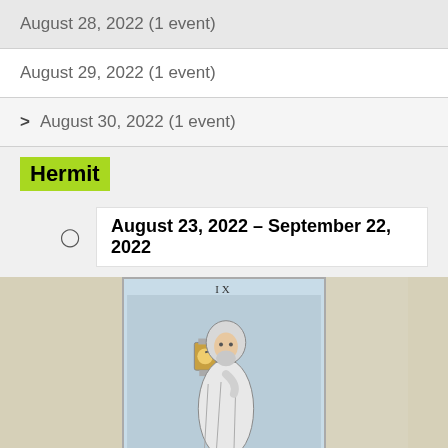August 28, 2022 (1 event)
August 29, 2022 (1 event)
August 30, 2022 (1 event)
Hermit
August 23, 2022 – September 22, 2022
[Figure (illustration): Tarot card illustration of The Hermit (IX) — a robed elderly figure holding a lantern in one hand and a tall staff in the other, standing against a light blue background. The card is bordered and shows Roman numeral IX at the top.]